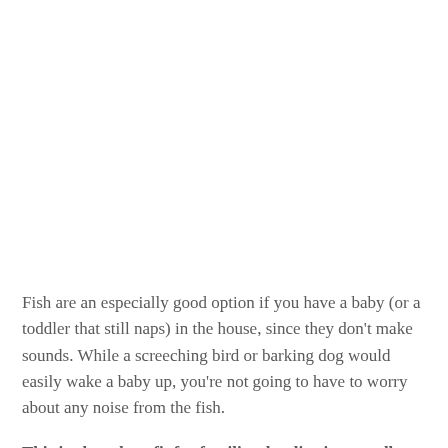Fish are an especially good option if you have a baby (or a toddler that still naps) in the house, since they don't make sounds. While a screeching bird or barking dog would easily wake a baby up, you're not going to have to worry about any noise from the fish.
This is also a benefit for families that live in a small